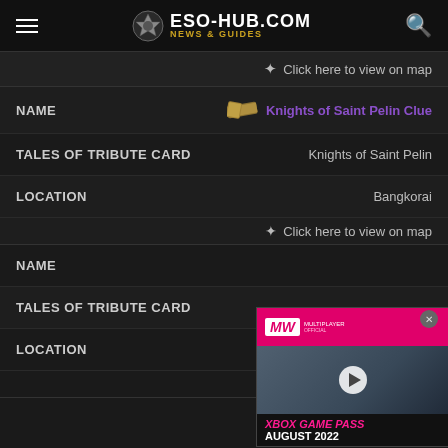ESO-HUB.COM NEWS & GUIDES
Click here to view on map
| Field | Value |
| --- | --- |
| NAME | Knights of Saint Pelin Clue |
| TALES OF TRIBUTE CARD | Knights of Saint Pelin |
| LOCATION | Bangkorai |
|  | Click here to view on map |
| NAME |  |
| TALES OF TRIBUTE CARD |  |
| LOCATION | Bangkorai |
|  | Click here to view on map |
[Figure (screenshot): Video advertisement overlay showing XBOX GAME PASS AUGUST 2022 with military soldiers imagery and a play button. Top bar shows MW (Multiplayer) logo on pink/magenta background.]